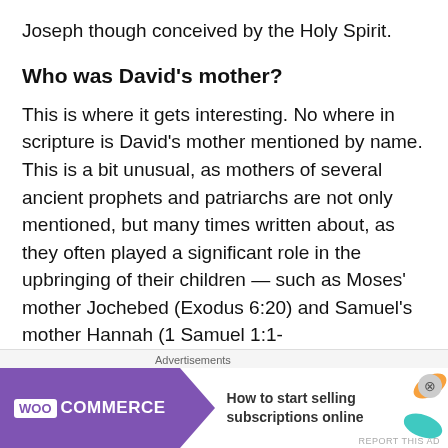Joseph though conceived by the Holy Spirit.
Who was David's mother?
This is where it gets interesting. No where in scripture is David's mother mentioned by name. This is a bit unusual, as mothers of several ancient prophets and patriarchs are not only mentioned, but many times written about, as they often played a significant role in the upbringing of their children — such as Moses' mother Jochebed (Exodus 6:20) and Samuel's mother Hannah (1 Samuel 1:1-
Advertisements
[Figure (screenshot): WooCommerce advertisement banner: purple background with WOO COMMERCE logo, teal arrow graphic, text 'How to start selling subscriptions online', and colorful leaf graphics on the right]